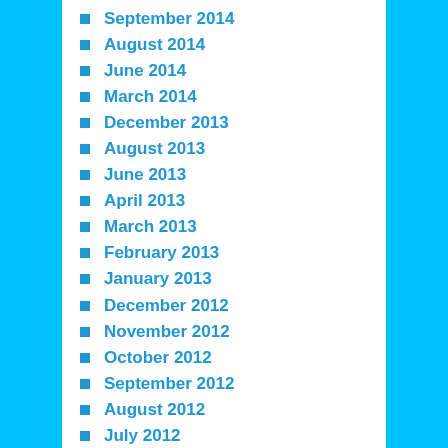September 2014
August 2014
June 2014
March 2014
December 2013
August 2013
June 2013
April 2013
March 2013
February 2013
January 2013
December 2012
November 2012
October 2012
September 2012
August 2012
July 2012
June 2012
May 2012
April 2012
March 2012
February 2012